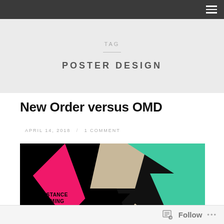TAG
POSTER DESIGN
New Order versus OMD
APRIL 14, 2018 / 1 COMMENT
[Figure (illustration): Colorful abstract poster with geometric shapes in pink, black, teal/green, and tan/beige. Text on poster reads: SUBSTANCE DREAMING A NIGHT OF]
Follow